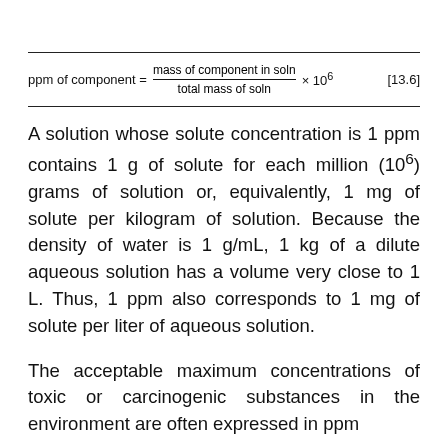A solution whose solute concentration is 1 ppm contains 1 g of solute for each million (10^6) grams of solution or, equivalently, 1 mg of solute per kilogram of solution. Because the density of water is 1 g/mL, 1 kg of a dilute aqueous solution has a volume very close to 1 L. Thus, 1 ppm also corresponds to 1 mg of solute per liter of aqueous solution.
The acceptable maximum concentrations of toxic or carcinogenic substances in the environment are often expressed in ppm